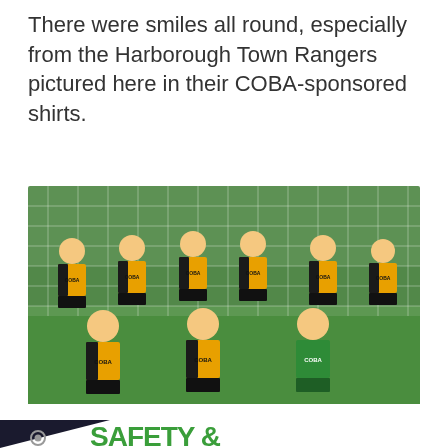There were smiles all round, especially from the Harborough Town Rangers pictured here in their COBA-sponsored shirts.
[Figure (photo): Youth football team (Harborough Town Rangers) wearing yellow and black COBA-sponsored shirts, posed in front of a goal net on grass. One player in green goalkeeper kit. Approximately 9 children.]
[Figure (infographic): Partial view of a 'SAFETY &' heading in large bold green text on white background, with a dark triangular graphic element in the lower left corner containing a gear/cog icon logo.]